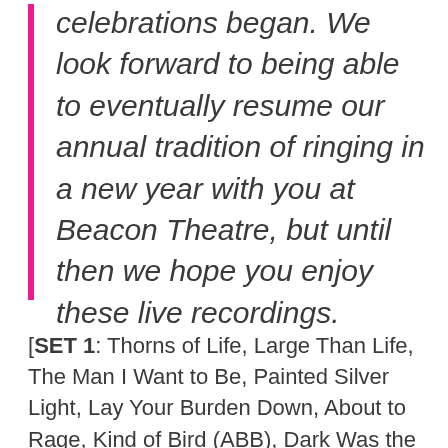celebrations began. We look forward to being able to eventually resume our annual tradition of ringing in a new year with you at Beacon Theatre, but until then we hope you enjoy these live recordings.
[SET 1: Thorns of Life, Large Than Life, The Man I Want to Be, Painted Silver Light, Lay Your Burden Down, About to Rage, Kind of Bird (ABB), Dark Was the Night, Cold Was the Ground (Blind Willie Johnson); SET 2 (The Rocking Mule Review): Daddy Don't Live in